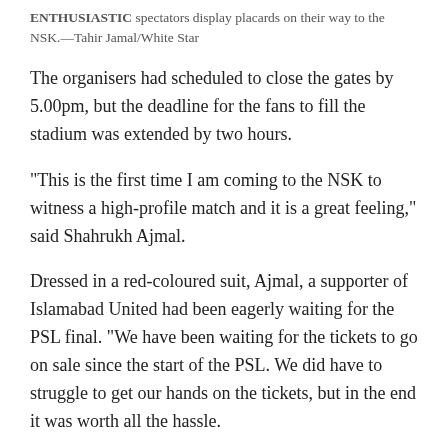ENTHUSIASTIC spectators display placards on their way to the NSK.—Tahir Jamal/White Star
The organisers had scheduled to close the gates by 5.00pm, but the deadline for the fans to fill the stadium was extended by two hours.
“This is the first time I am coming to the NSK to witness a high-profile match and it is a great feeling,” said Shahrukh Ajmal.
Dressed in a red-coloured suit, Ajmal, a supporter of Islamabad United had been eagerly waiting for the PSL final. “We have been waiting for the tickets to go on sale since the start of the PSL. We did have to struggle to get our hands on the tickets, but in the end it was worth all the hassle.
“I am looking forward to watch [Luke] Ronchi smack sixes. I want to see Misbah-ul-Haq but, of course, I don’t think I will be